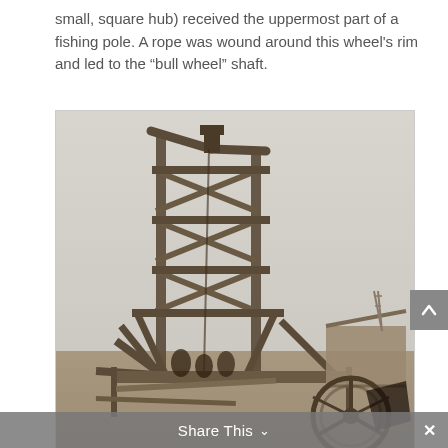small, square hub) received the uppermost part of a fishing pole. A rope was wound around this wheel's rim and led to the “bull wheel” shaft.
[Figure (photo): Black and white historical photograph of a tall wooden oil derrick structure with cross-braced timber framing. Workers visible at the base. A large wheel or pulley visible in the lower right corner. A smaller derrick visible in the background.]
Share This